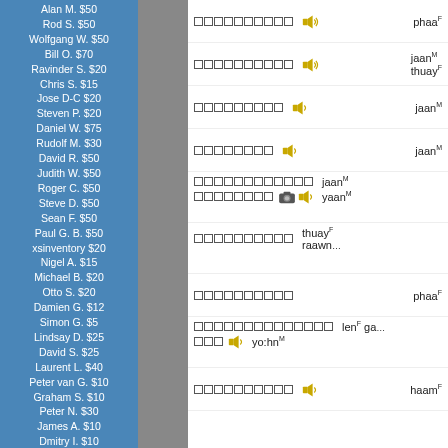Alan M. $50
Rod S. $50
Wolfgang W. $50
Bill O. $70
Ravinder S. $20
Chris S. $15
Jose D-C $20
Steven P. $20
Daniel W. $75
Rudolf M. $30
David R. $50
Judith W. $50
Roger C. $50
Steve D. $50
Sean F. $50
Paul G. B. $50
xsinventory $20
Nigel A. $15
Michael B. $20
Otto S. $20
Damien G. $12
Simon G. $5
Lindsay D. $25
David S. $25
Laurent L. $40
Peter van G. $10
Graham S. $10
Peter N. $30
James A. $10
Dmitry I. $10
Edward R. $50
Roderick S. $30
Mason S. $5
Henning E. $20
John F. $20
Daniel F. $10
Armand H. $20
Daniel S. $20
James McD. $20
Shane McC. $10
Roberto D. $50
[Figure (screenshot): Language learning app entries showing Thai script squares, audio icons, camera icons, and romanized phonetic labels]